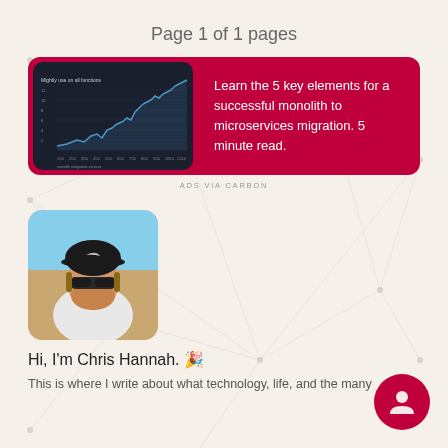Page 1 of 1 pages
[Figure (screenshot): Advertisement card with dark background line chart on left and text on right reading: Learn the 5 key elements for a successful monolith to microservices migration. 5 minute read.]
ADS VIA CARBON
[Figure (photo): Photo of a man wearing a black cap and sunglasses, outdoors in sunlight]
Hi, I'm Chris Hannah. 🎉
This is where I write about what technology, life, and the many